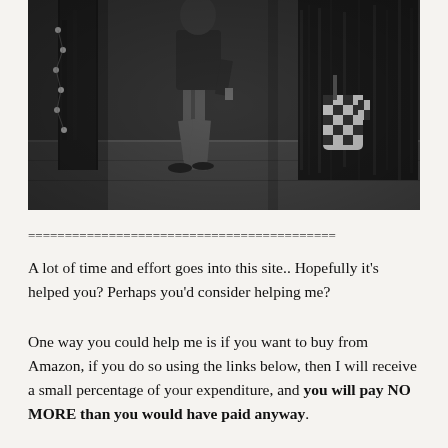[Figure (photo): Black and white photograph of two people walking outdoors in winter. One person wears jeans and dark jacket, the other wears a dark fur coat and holds checkered mittens. A tree with Christmas lights is visible on the left side.]
==========================================
A lot of time and effort goes into this site.. Hopefully it's helped you? Perhaps you'd consider helping me?
One way you could help me is if you want to buy from Amazon, if you do so using the links below, then I will receive a small percentage of your expenditure, and you will pay NO MORE than you would have paid anyway.